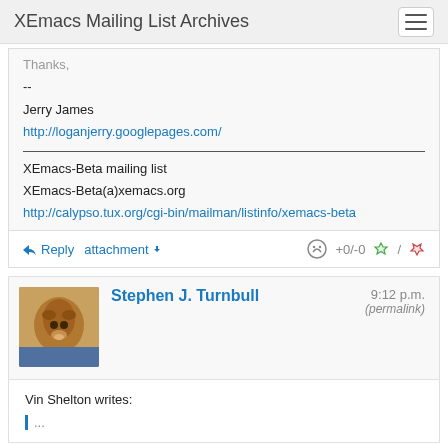XEmacs Mailing List Archives
Thanks,
--
Jerry James
http://loganjerry.googlepages.com/
XEmacs-Beta mailing list
XEmacs-Beta(a)xemacs.org
http://calypso.tux.org/cgi-bin/mailman/listinfo/xemacs-beta
Reply   attachment   +0/-0
Stephen J. Turnbull   9:12 p.m.
(permalink)
Vin Shelton writes: